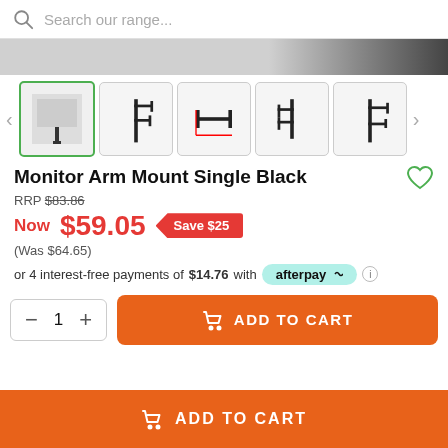Search our range...
[Figure (photo): Partial hero image of monitor arm mount product, dark background on right side]
[Figure (photo): Thumbnail gallery showing 5 monitor arm mount images in different angles; first thumbnail selected with green border]
Monitor Arm Mount Single Black
RRP $83.86
Now $59.05 Save $25
(Was $64.65)
or 4 interest-free payments of $14.76 with afterpay
1   ADD TO CART
ADD TO CART